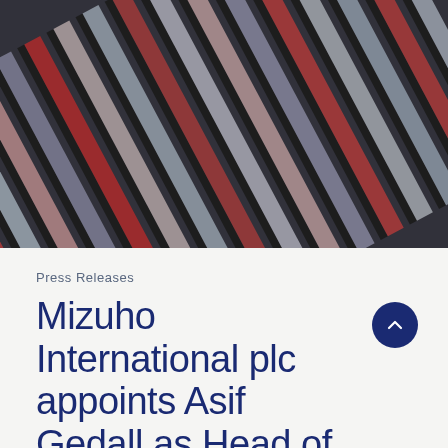[Figure (photo): Architectural facade with diagonal rows of colorful vertical panels or fins in red, pink, gray, and blue tones arranged in a diagonal repeating pattern]
Press Releases
Mizuho International plc appoints Asif Gedall as Head of